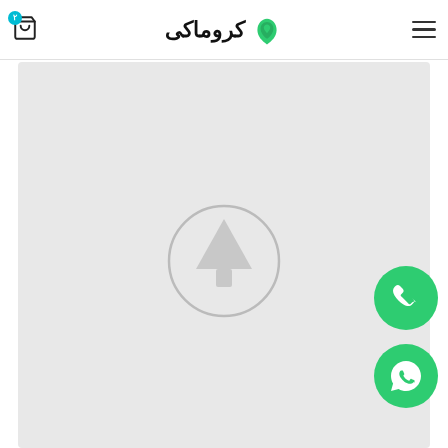کروماکی
[Figure (map): Light gray map background with a centered circular tree/navigation marker icon in muted gray]
[Figure (infographic): Green circular phone call button on the right side]
[Figure (infographic): Green circular WhatsApp button on the right side below the phone button]